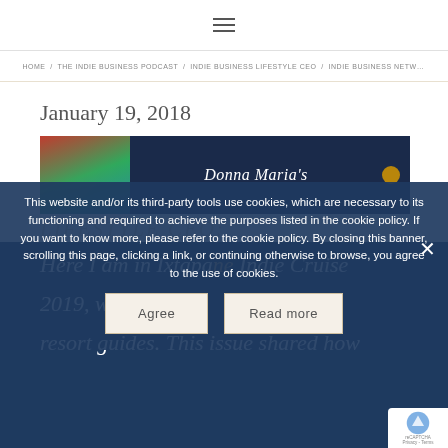≡ (hamburger menu icon)
Navigation breadcrumb links
January 19, 2018
[Figure (screenshot): Donna Maria's blog/podcast embed block with thumbnail image on dark navy background showing 'Donna Maria's' title in italic white text with a gold circular icon]
LIFESTYLE CEO:
This website and/or its third-party tools use cookies, which are necessary to its functioning and required to achieve the purposes listed in the cookie policy. If you want to know more, please refer to the cookie policy. By closing this banner, scrolling this page, clicking a link, or continuing otherwise to browse, you agree to the use of cookies.
Here I am in Ixtapa no Indie Cruise 2019, w d my resort guides. This issue shared how